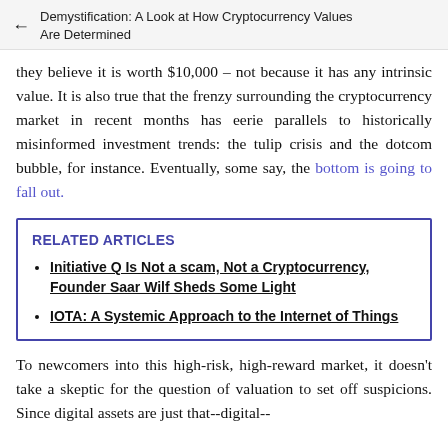Demystification: A Look at How Cryptocurrency Values Are Determined
they believe it is worth $10,000 – not because it has any intrinsic value. It is also true that the frenzy surrounding the cryptocurrency market in recent months has eerie parallels to historically misinformed investment trends: the tulip crisis and the dotcom bubble, for instance. Eventually, some say, the bottom is going to fall out.
RELATED ARTICLES
Initiative Q Is Not a scam, Not a Cryptocurrency, Founder Saar Wilf Sheds Some Light
IOTA: A Systemic Approach to the Internet of Things
To newcomers into this high-risk, high-reward market, it doesn't take a skeptic for the question of valuation to set off suspicions. Since digital assets are just that--digital--